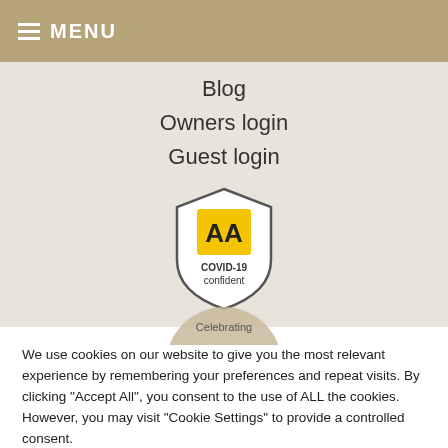MENU
Blog
Owners login
Guest login
[Figure (logo): AA COVID-19 confident shield badge with yellow AA logo and text 'COVID-19 confident']
[Figure (logo): Partially visible circular 'Celebrating' badge at bottom of hero]
We use cookies on our website to give you the most relevant experience by remembering your preferences and repeat visits. By clicking "Accept All", you consent to the use of ALL the cookies. However, you may visit "Cookie Settings" to provide a controlled consent.